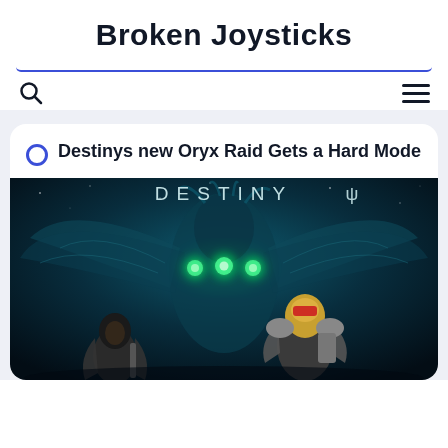Broken Joysticks
Destinys new Oryx Raid Gets a Hard Mode
[Figure (photo): Destiny video game promotional image showing the word DESTINY with a Traveler icon, a large glowing alien boss creature in the background, and armored guardian characters in the foreground against a dark teal/blue sci-fi background]